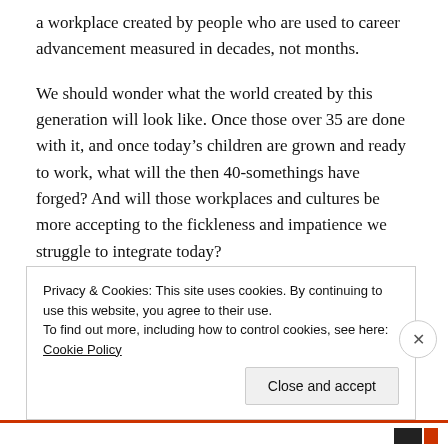a workplace created by people who are used to career advancement measured in decades, not months.
We should wonder what the world created by this generation will look like. Once those over 35 are done with it, and once today’s children are grown and ready to work, what will the then 40-somethings have forged? And will those workplaces and cultures be more accepting to the fickleness and impatience we struggle to integrate today?
Privacy & Cookies: This site uses cookies. By continuing to use this website, you agree to their use.
To find out more, including how to control cookies, see here: Cookie Policy
Close and accept